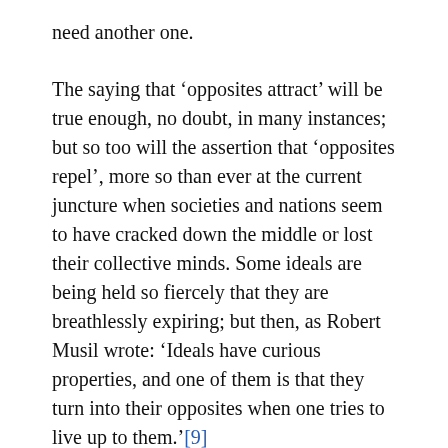need another one.
The saying that ‘opposites attract’ will be true enough, no doubt, in many instances; but so too will the assertion that ‘opposites repel’, more so than ever at the current juncture when societies and nations seem to have cracked down the middle or lost their collective minds. Some ideals are being held so fiercely that they are breathlessly expiring; but then, as Robert Musil wrote: ‘Ideals have curious properties, and one of them is that they turn into their opposites when one tries to live up to them.’[9]
Sometimes. Still, God bless the archivist: that statement will brook no opposition.